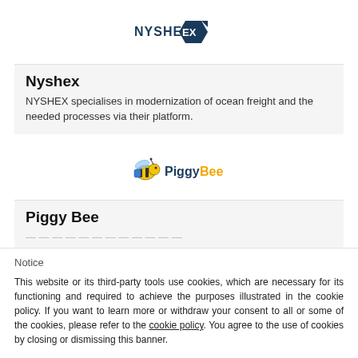[Figure (logo): NYSHEX logo — dark blue hexagonal shape with white text NYSHEX]
Nyshex
NYSHEX specialises in modernization of ocean freight and the needed processes via their platform.
[Figure (logo): PiggyBee logo — cartoon bee wearing a backpack next to text PiggyBee in blue and yellow]
Piggy Bee
Notice
This website or its third-party tools use cookies, which are necessary for its functioning and required to achieve the purposes illustrated in the cookie policy. If you want to learn more or withdraw your consent to all or some of the cookies, please refer to the cookie policy. You agree to the use of cookies by closing or dismissing this banner.